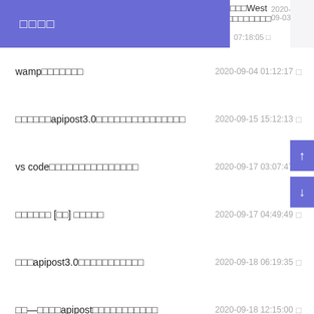□□□□
PI□□□□West S2□□□□□□□□  2020-09-03 07:18:05
wamp□□□□□□□  2020-09-04 01:12:17
□□□□□□apipost3.0□□□□□□□□□□□□□□□  2020-09-15 15:12:13
vs code□□□□□□□□□□□□□□□  2020-09-17 03:07:47
□□□□□□ [□□] □□□□□  2020-09-17 04:49:49
□□□apipost3.0□□□□□□□□□□□  2020-09-18 06:19:35
□□—□□□□apipost□□□□□□□□□□□  2020-09-18 12:15:00
□□□□apipost□□□□mock□□  2020-09-19 21:59:25
Apipost□□□□□□□  2020-09-19 11:44:49